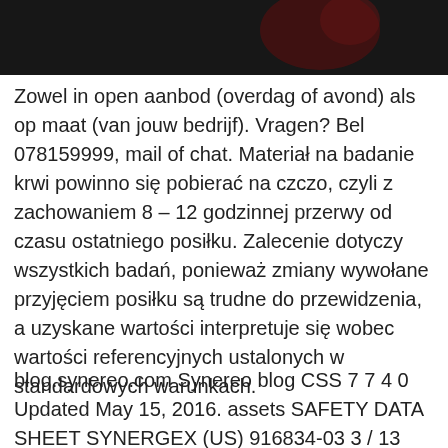[Figure (photo): Dark image with reddish tones, partially visible at the top of the page]
Zowel in open aanbod (overdag of avond) als op maat (van jouw bedrijf). Vragen? Bel 078159999, mail of chat. Materiał na badanie krwi powinno się pobierać na czczo, czyli z zachowaniem 8 – 12 godzinnej przerwy od czasu ostatniego posiłku. Zalecenie dotyczy wszystkich badań, ponieważ zmiany wywołane przyjęciem posiłku są trudne do przewidzenia, a uzyskane wartości interpretuje się wobec wartości referencyjnych ustalonych w standardowych warunkach.
blog.synereo.com Synereo blog CSS 7 7 4 0 Updated May 15, 2016. assets SAFETY DATA SHEET SYNERGEX (US) 916834-03 3 / 13 Octanoic acid 124-07-2 1 - 5 9 -Octadecenoic acid